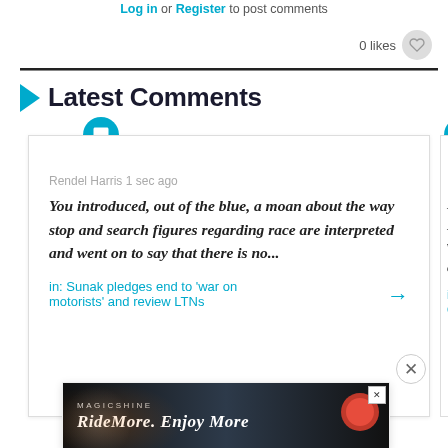Log in or Register to post comments
0 likes
Latest Comments
Rendel Harris 1 sec ago
You introduced, out of the blue, a moan about the way stop and search figures regarding race are interpreted and went on to say that there is no...
in: Sunak pledges end to 'war on motorists' and review LTNs
Ian
It d He wh ev
in: dri
[Figure (advertisement): Magicshine RideMore. Enjoy More advertisement banner with dark background and bike light imagery]